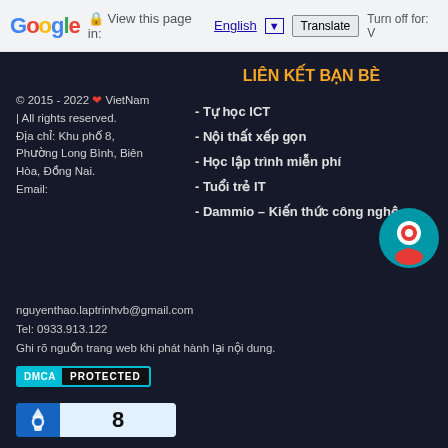Google  View this page in: English  Translate  Turn off for: V
LIÊN KẾT BẠN BÈ
© 2015 - 2022 ❤ VietNam | All rights reserved.
Địa chỉ: Khu phố 8, Phường Long Bình, Biên Hòa, Đồng Nai.
Email:
- Tự học ICT
- Nội thất xếp gọn
- Học lập trình miễn phí
- Tuổi trẻ IT
- Dammio – Kiến thức công nghệ
[Figure (illustration): Blue and orange circular chat/support icon]
nguyenthao.laptrinhvb@gmail.com
Tel: 0933.913.122
Ghi rõ nguồn trang web khi phát hành lại nội dung.
[Figure (logo): DMCA PROTECTED badge in cyan and black]
[Figure (infographic): Blue visitor counter showing number 8 with a walking person icon]